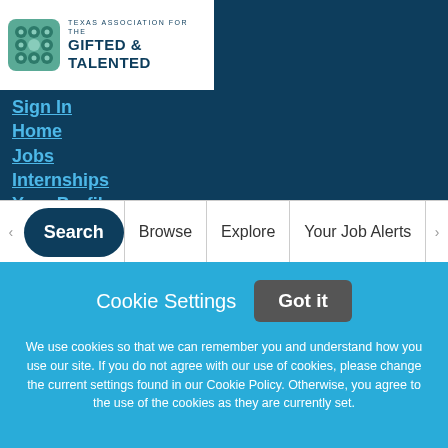[Figure (logo): Texas Association for the Gifted & Talented logo with teal grid icon and organization name]
Sign In
Home
Jobs
Internships
Your Profile
Resources
HELP
Employers Post Jobs
Search | Browse | Explore | Your Job Alerts
Cookie Settings   Got it

We use cookies so that we can remember you and understand how you use our site. If you do not agree with our use of cookies, please change the current settings found in our Cookie Policy. Otherwise, you agree to the use of the cookies as they are currently set.